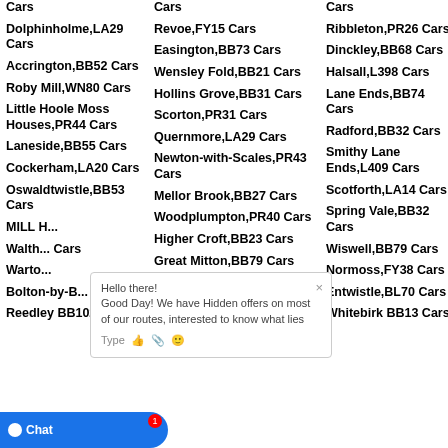Cars
Cars
Cars
Dolphinholme,LA29 Cars
Revoe,FY15 Cars
Ribbleton,PR26 Cars
Accrington,BB52 Cars
Easington,BB73 Cars
Dinckley,BB68 Cars
Roby Mill,WN80 Cars
Wensley Fold,BB21 Cars
Halsall,L398 Cars
Little Hoole Moss Houses,PR44 Cars
Hollins Grove,BB31 Cars
Lane Ends,BB74 Cars
Laneside,BB55 Cars
Scorton,PR31 Cars
Radford,BB32 Cars
Cockerham,LA20 Cars
Quernmore,LA29 Cars
Smithy Lane Ends,L409 Cars
Oswaldtwistle,BB53 Cars
Newton-with-Scales,PR43 Cars
Scotforth,LA14 Cars
MILL H... Cars
Mellor Brook,BB27 Cars
Spring Vale,BB32 Cars
Walth... Cars
Woodplumpton,PR40 Cars
Wiswell,BB79 Cars
Warto... Cars
Higher Croft,BB23 Cars
Normoss,FY38 Cars
Bolton-by-B... B74 Cars
Great Mitton,BB79 Cars
Entwistle,BL70 Cars
Reedley BB102 Cars
Hey BB87 Cars
Whitebirk BB13 Cars